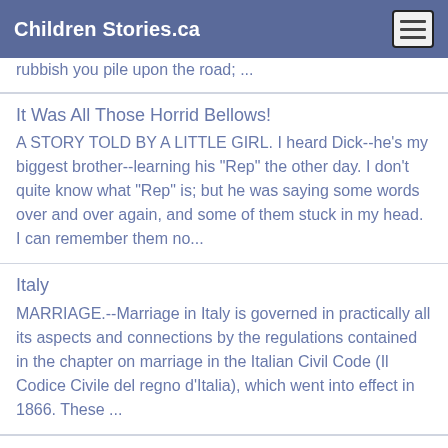Children Stories.ca
rubbish you pile upon the road; ...
It Was All Those Horrid Bellows!
A STORY TOLD BY A LITTLE GIRL. I heard Dick--he's my biggest brother--learning his "Rep" the other day. I don't quite know what "Rep" is; but he was saying some words over and over again, and some of them stuck in my head. I can remember them no...
Italy
MARRIAGE.--Marriage in Italy is governed in practically all its aspects and connections by the regulations contained in the chapter on marriage in the Italian Civil Code (Il Codice Civile del regno d'Italia), which went into effect in 1866. These ...
Jack And His Comrades
Once there was a poor widow, as often there has been,